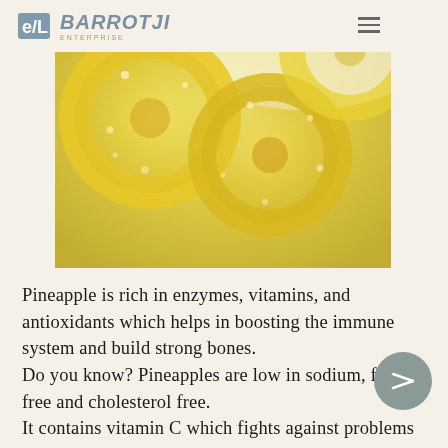BARROTJI
[Figure (photo): Close-up photo of dried/candied pineapple rings, yellow-golden color, on a light background]
Pineapple is rich in enzymes, vitamins, and antioxidants which helps in boosting the immune system and build strong bones. Do you know? Pineapples are low in sodium, fat-free and cholesterol free. It contains vitamin C which fights against problems such as heart disease and joint pain.